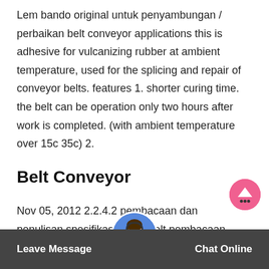Lem bando original untuk penyambungan / perbaikan belt conveyor applications this is adhesive for vulcanizing rubber at ambient temperature, used for the splicing and repair of conveyor belts. features 1. shorter curing time. the belt can be operation only two hours after work is completed. (with ambient temperature over 15c 35c) 2.
Belt Conveyor
Nov 05, 2012 2.2.4.2 pembacaan dan penulisan spesifikasi fabric belt pembacaan dan penulisan spesifikasi belt conveyor harus diusahakansejelas mungkin. karena pembacaan yang tidak jela… mengakibatkan kesalahan … pemakaian jenis belt …
Leave Message   Chat Online